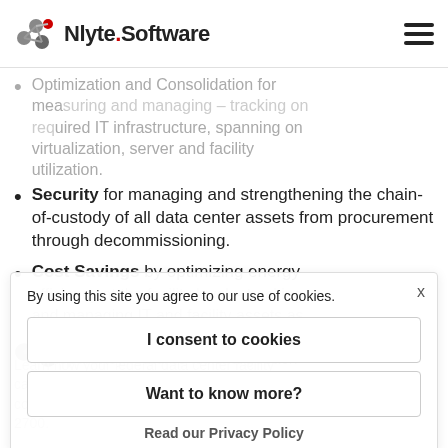Nlyte Software
Optimization and Consolidation for measuring and managing - utilization.
Security for managing and strengthening the chain-of-custody of all data center assets from procurement through decommissioning.
Cost Savings by optimizing energy efficiency at the facility level — tracking and managing IT and facility assets as well as providing operational-cost transparency features for chargeback
By using this site you agree to our use of cookies.
I consent to cookies
Want to know more?
Read our Privacy Policy
Learn how your federal data center facility can deploy Nlyte to help keep data more securely contact info@nlyte.com or call (650) 642-2700.